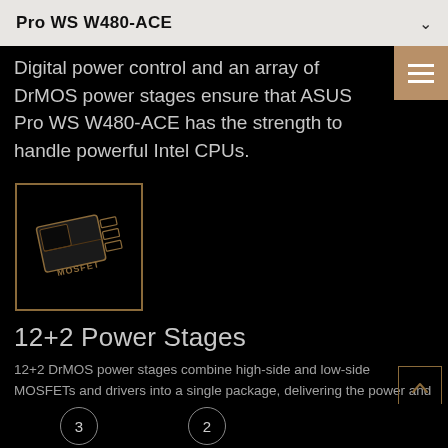Pro WS W480-ACE
Digital power control and an array of DrMOS power stages ensure that ASUS Pro WS W480-ACE has the strength to handle powerful Intel CPUs.
[Figure (illustration): Gold-outlined illustration of a MOSFET chip component with label 'MOSFET' on a black background, inside a square border]
12+2 Power Stages
12+2 DrMOS power stages combine high-side and low-side MOSFETs and drivers into a single package, delivering the power and efficiency that the latest Intel processors demand.